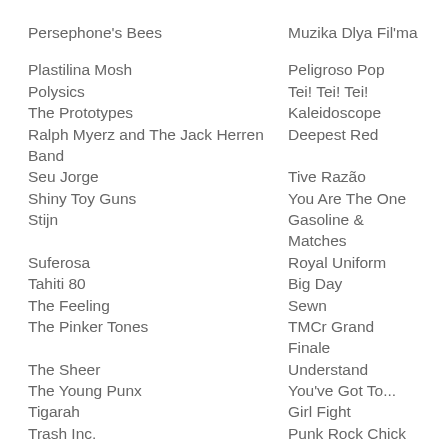Persephone's Bees | Muzika Dlya Fil'ma
Plastilina Mosh | Peligroso Pop
Polysics | Tei! Tei! Tei!
The Prototypes | Kaleidoscope
Ralph Myerz and The Jack Herren Band | Deepest Red
Seu Jorge | Tive Razão
Shiny Toy Guns | You Are The One
Stijn | Gasoline & Matches
Suferosa | Royal Uniform
Tahiti 80 | Big Day
The Feeling | Sewn
The Pinker Tones | TMCr Grand Finale
The Sheer | Understand
The Young Punx | You've Got To...
Tigarah | Girl Fight
Trash Inc. | Punk Rock Chick